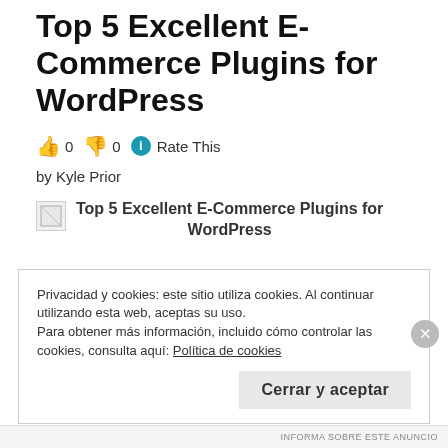Top 5 Excellent E-Commerce Plugins for WordPress
👍 0 👎 0 ℹ Rate This
by Kyle Prior
[Figure (illustration): Broken image placeholder with caption: Top 5 Excellent E-Commerce Plugins for WordPress]
Top 5 Excellent E-Commerce Plugins for WordPress
Privacidad y cookies: este sitio utiliza cookies. Al continuar utilizando esta web, aceptas su uso.
Para obtener más información, incluido cómo controlar las cookies, consulta aquí: Política de cookies
Cerrar y aceptar
INFORMA SOBRE ESTE ANUNCIO